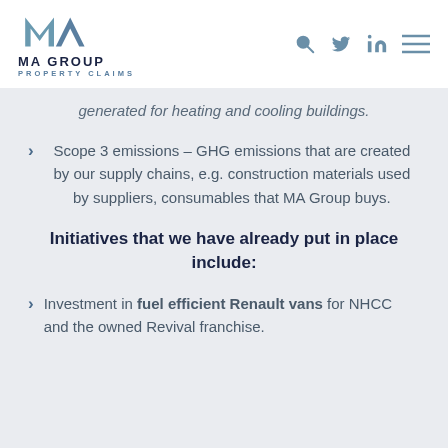[Figure (logo): MA Group Property Claims logo with stylized M and A letters in blue/slate, bold dark navy text 'MA GROUP' and blue subtitle 'PROPERTY CLAIMS']
generated for heating and cooling buildings.
Scope 3 emissions – GHG emissions that are created by our supply chains, e.g. construction materials used by suppliers, consumables that MA Group buys.
Initiatives that we have already put in place include:
Investment in fuel efficient Renault vans for NHCC and the owned Revival franchise.